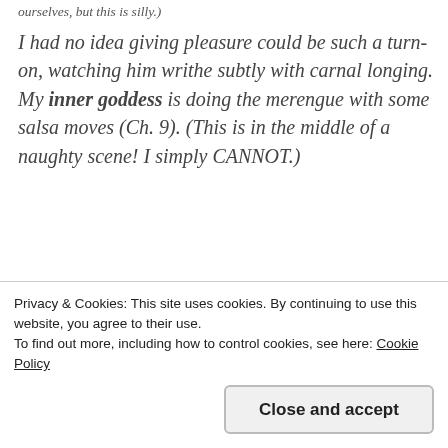ourselves, but this is silly.)
I had no idea giving pleasure could be such a turn-on, watching him writhe subtly with carnal longing. My inner goddess is doing the merengue with some salsa moves (Ch. 9). (This is in the middle of a naughty scene! I simply CANNOT.)
[Figure (screenshot): WooCommerce advertisement banner: purple background with WooCommerce logo on left, green arrow pointing left, and text 'How to start selling subscriptions online' on right with orange and blue decorative shapes]
6. Likewise, Ana’s “subconscious” that either
Privacy & Cookies: This site uses cookies. By continuing to use this website, you agree to their use.
To find out more, including how to control cookies, see here: Cookie Policy